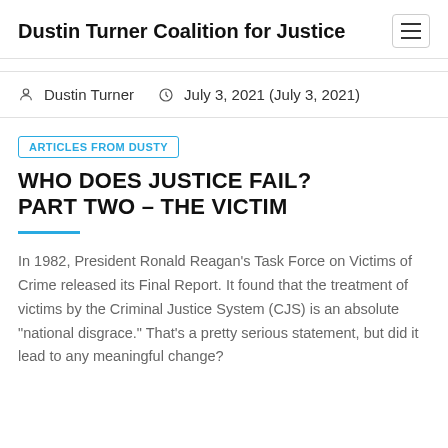Dustin Turner Coalition for Justice
Dustin Turner  July 3, 2021 (July 3, 2021)
ARTICLES FROM DUSTY
WHO DOES JUSTICE FAIL? PART TWO – THE VICTIM
In 1982, President Ronald Reagan's Task Force on Victims of Crime released its Final Report. It found that the treatment of victims by the Criminal Justice System (CJS) is an absolute "national disgrace." That's a pretty serious statement, but did it lead to any meaningful change?